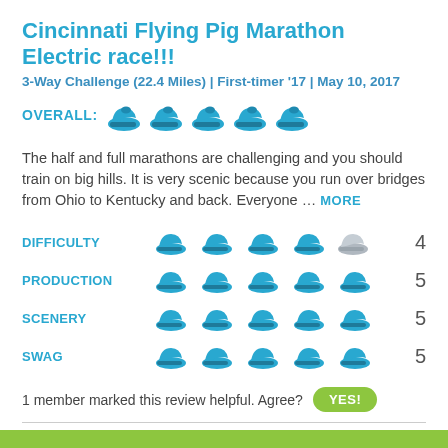Cincinnati Flying Pig Marathon Electric race!!!
3-Way Challenge (22.4 Miles) | First-timer '17 | May 10, 2017
[Figure (illustration): OVERALL rating shown as 5 blue running shoe icons]
The half and full marathons are challenging and you should train on big hills. It is very scenic because you run over bridges from Ohio to Kentucky and back. Everyone ... MORE
[Figure (illustration): DIFFICULTY rating: 4 blue shoes and 1 gray shoe, score 4]
[Figure (illustration): PRODUCTION rating: 5 blue shoes, score 5]
[Figure (illustration): SCENERY rating: 5 blue shoes, score 5]
[Figure (illustration): SWAG rating: 5 blue shoes, score 5]
1 member marked this review helpful. Agree? YES!